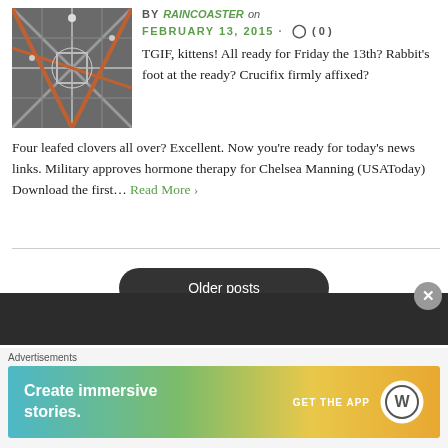[Figure (photo): A photo showing an architectural interior with metal scaffolding or structural framework viewed from below, with orange/red beams visible.]
BY RAINCOASTER on FEBRUARY 13, 2015 · ( 0 )
TGIF, kittens! All ready for Friday the 13th? Rabbit's foot at the ready? Crucifix firmly affixed? Four leafed clovers all over? Excellent. Now you're ready for today's news links. Military approves hormone therapy for Chelsea Manning (USAToday) Download the first… Read More ›
Older posts
Advertisements
[Figure (screenshot): WordPress advertisement banner: 'Create immersive stories. GET THE APP' with WordPress logo on a gradient background.]